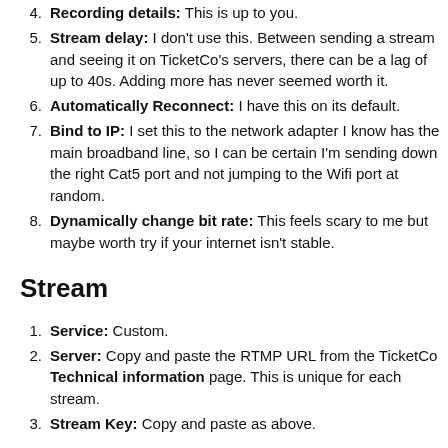4. Recording details: This is up to you.
5. Stream delay: I don't use this. Between sending a stream and seeing it on TicketCo's servers, there can be a lag of up to 40s. Adding more has never seemed worth it.
6. Automatically Reconnect: I have this on its default.
7. Bind to IP: I set this to the network adapter I know has the main broadband line, so I can be certain I'm sending down the right Cat5 port and not jumping to the Wifi port at random.
8. Dynamically change bit rate: This feels scary to me but maybe worth try if your internet isn't stable.
Stream
1. Service: Custom.
2. Server: Copy and paste the RTMP URL from the TicketCo Technical information page. This is unique for each stream.
3. Stream Key: Copy and paste as above.